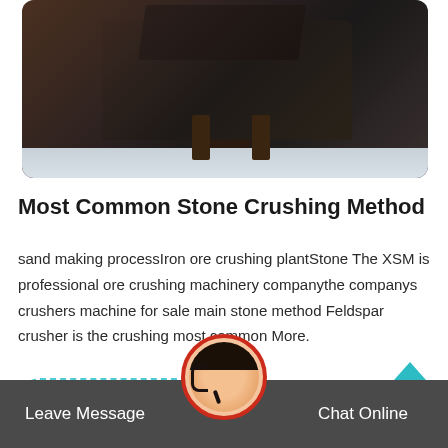[Figure (photo): Industrial stone crushing machine on a factory floor, dark metallic body with support legs, viewed from the side]
Most Common Stone Crushing Method
sand making processIron ore crushing plantStone The XSM is professional ore crushing machinery companythe companys crushers machine for sale main stone method Feldspar crusher is the crushing most common More.
Get Price
Leave Message
Chat Online